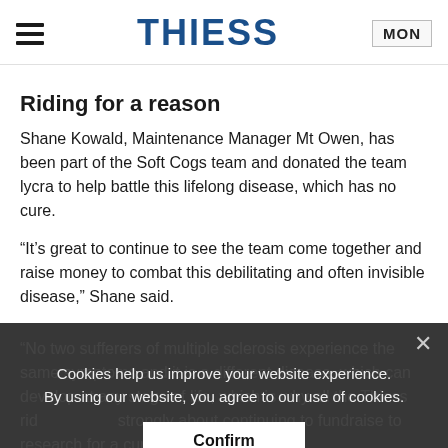THIESS | MON
Riding for a reason
Shane Kowald, Maintenance Manager Mt Owen, has been part of the Soft Cogs team and donated the team lycra to help battle this lifelong disease, which has no cure.
“It’s great to continue to see the team come together and raise money to combat this debilitating and often invisible disease,” Shane said.
“No two sufferers of multiple sclerosis experience the same symptoms and it is a different disease, which can develop at any stage of life, which is why all the Thiess riders feel so strongly about continuing to fundraise to research for a cure.”